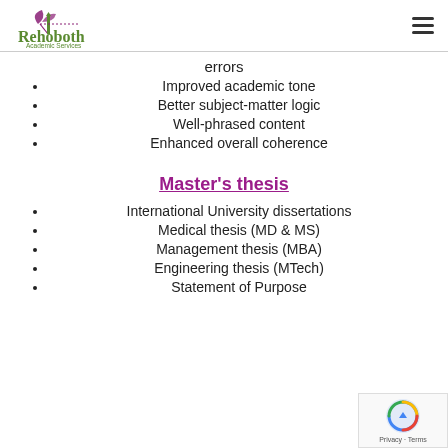Rehoboth Academic Services
errors
Improved academic tone
Better subject-matter logic
Well-phrased content
Enhanced overall coherence
Master's thesis
International University dissertations
Medical thesis (MD & MS)
Management thesis (MBA)
Engineering thesis (MTech)
Statement of Purpose